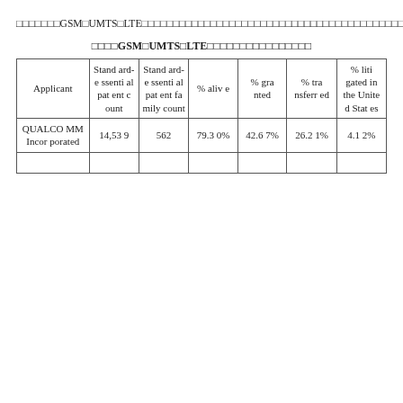□□□□□□□GSM□UMTS□LTE□□□□□□□□□□□□□□□□□□□□□□□□□□□□□□□□□□□□□□□□□□□□□□□□SEPs□□□□□□□□□□□□□□□□□□□□□□□□□□□□□□□□□□□□□□□□□□□□□□□□□□□
□□□□GSM□UMTS□LTE□□□□□□□□□□□□□□□□
| Applicant | Standard-essential patent count | Standard-essential patent family count | % alive | % granted | % transferred | % litigated in the United States |
| --- | --- | --- | --- | --- | --- | --- |
| QUALCOMM Incorporated | 14,539 | 562 | 79.30% | 42.67% | 26.21% | 4.12% |